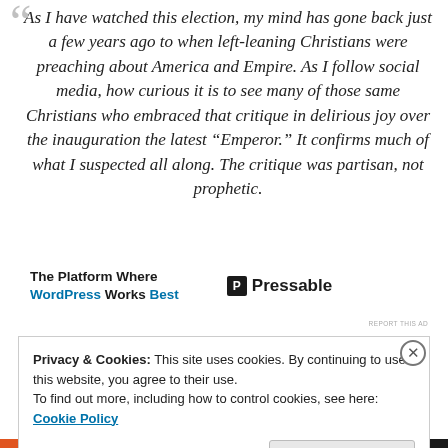“As I have watched this election, my mind has gone back just a few years ago to when left-leaning Christians were preaching about America and Empire. As I follow social media, how curious it is to see many of those same Christians who embraced that critique in delirious joy over the inauguration the latest “Emperor.” It confirms much of what I suspected all along. The critique was partisan, not prophetic.
[Figure (infographic): Advertisement banner for Pressable: 'The Platform Where WordPress Works Best' with Pressable logo]
Privacy & Cookies: This site uses cookies. By continuing to use this website, you agree to their use.
To find out more, including how to control cookies, see here: Cookie Policy
Close and accept